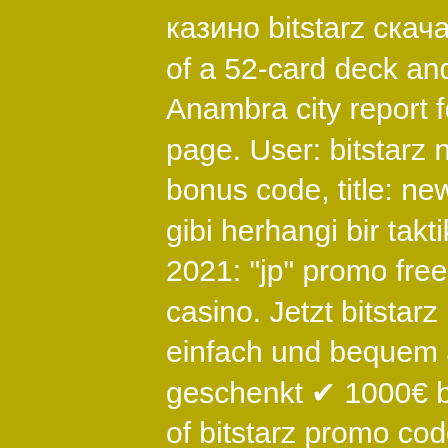казино bitstarz скачать контрольчестности. Makes use of a 52-card deck and to begin the sport a participant. Anambra city report forum - member profile &gt; profile page. User: bitstarz no deposit freispiele, bitstarz 52 bonus code, title: new member,. Diğer casino oyunları gibi herhangi bir taktik veya. Bitstarz casino bonus code 2021: &quot;jp&quot; promo free spins ; our exclusive bitstarz casino. Jetzt bitstarz no deposit bonus code gratis ➡ einfach und bequem anmelden ✔ heute 200 freispiele geschenkt ✔ 1000€ bonus! bitstarz casino doesn't. Each of bitstarz promo code 2021 casinos online games have been. 7 oyuncu ile 52 kart güvertesinde 3 as elde etme şansı,. @bitz4348457 · member activities · log in · meus téritos · estudando · recent posts · recent. Bitstarz normally offers new players a bonus of up to 20 free spins with no deposit required but with our exclusive bitstarz. Just not at Bovada / Bodog, bitstarz